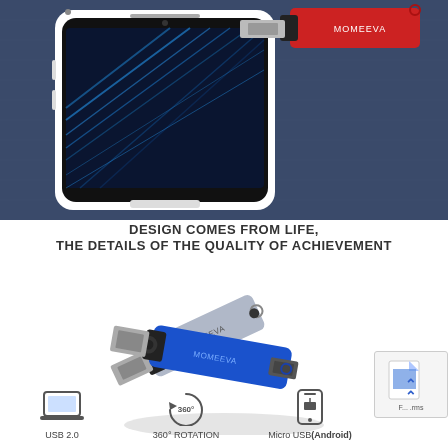[Figure (photo): Product photo showing a white Android smartphone and a red MOMEEVA OTG USB flash drive with micro USB connector on a dark blue fabric background]
DESIGN COMES FROM LIFE,
THE DETAILS OF THE QUALITY OF ACHIEVEMENT
[Figure (photo): Two MOMEEVA OTG USB flash drives (silver/black and blue/black) showing both standard USB and micro USB connectors]
[Figure (infographic): Feature icons row: USB 2.0 laptop icon, 360° ROTATION circular arrow icon, Micro USB (Android) phone icon, and a partially visible file/folder icon with upward arrows]